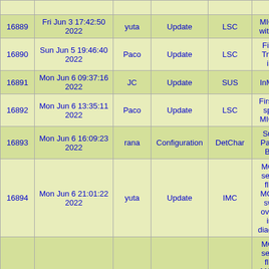| ID | Date | Author | Type | Category | Title |
| --- | --- | --- | --- | --- | --- |
|  |  |  |  |  | A... |
| 16889 | Fri Jun 3 17:42:50 2022 | yuta | Update | LSC | MICH... with A... |
| 16890 | Sun Jun 5 19:46:40 2022 | Paco | Update | LSC | Fixe... Tran... is... |
| 16891 | Mon Jun 6 09:37:16 2022 | JC | Update | SUS | InM... |
| 16892 | Mon Jun 6 13:35:11 2022 | Paco | Update | LSC | First c... spe... MICH... |
| 16893 | Mon Jun 6 16:09:23 2022 | rana | Configuration | DetChar | Sun... Page... BL... |
| 16894 | Mon Jun 6 21:01:22 2022 | yuta | Update | IMC | MC1 sens flip MC1/... swi... overr... in diagon... |
|  |  |  |  |  | MC1 sens flip MC1/... |